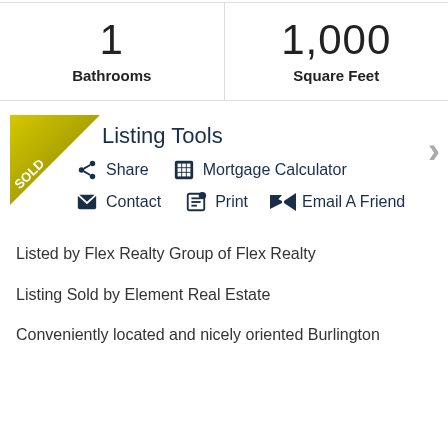| Bathrooms | Square Feet |
| --- | --- |
| 1 | 1,000 |
Listing Tools
Share   Mortgage Calculator
Contact   Print   Email A Friend
Listed by Flex Realty Group of Flex Realty
Listing Sold by Element Real Estate
Conveniently located and nicely oriented Burlington